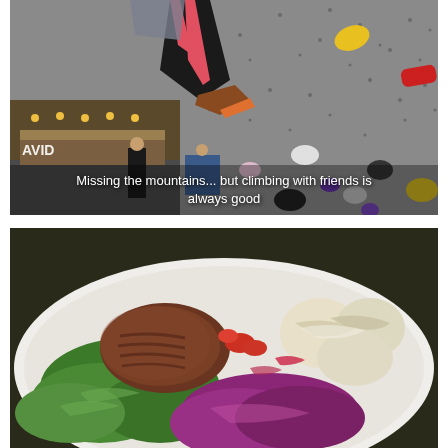[Figure (photo): Indoor rock climbing gym photo showing a person in black and pink leggings climbing on a gray bouldering wall with colorful holds (yellow, red, white, black, purple). In the background is a cafe/bar area with warm lighting and a sign reading 'AVID'. Other people are visible in the background. Overlaid text reads: 'Missing the mountains... but climbing with friends is always good']
[Figure (photo): Close-up photo of a plate of food on a white paper plate: a grilled meat patty/kebab, green lettuce leaves, purple/red cabbage salad, tomatoes, and what appears to be potato salad or dumplings with dressing.]